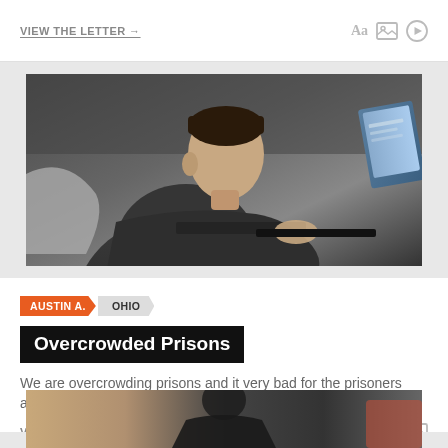VIEW THE LETTER →
[Figure (photo): Person wearing dark hoodie using a laptop computer, side profile view, dark background with laptops visible]
AUSTIN A.  OHIO
Overcrowded Prisons
We are overcrowding prisons and it very bad for the prisoners and society.
VIEW THE LETTER →
[Figure (photo): Partial photo at bottom, person visible from shoulders up]